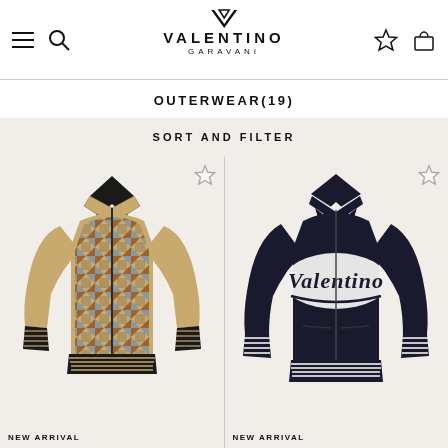Valentino Garavani — navigation header with hamburger menu, search, logo, wishlist, bag icons
OUTERWEAR(19)
SORT AND FILTER
[Figure (photo): Valentino Garavani patterned bomber jacket in gold/brown/black/blue geometric print]
[Figure (photo): Valentino Garavani dark navy bomber jacket with white Valentino script logo patch on chest]
NEW ARRIVAL
NEW ARRIVAL